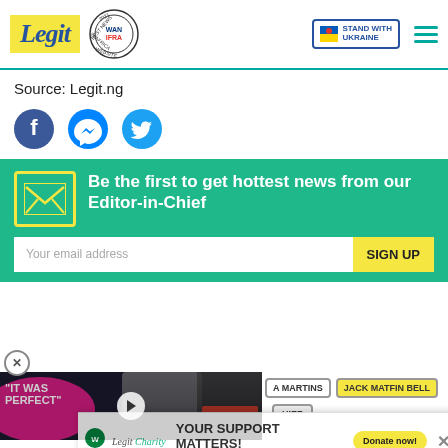Legit — Best News Website in Africa 2021 WAN-IFRA | Stand with Ukraine
Source: Legit.ng
[Figure (infographic): Social share icons: Facebook, Messenger, Twitter]
[Figure (infographic): Newsletter signup banner: Be the first to get hottest news from our Editor-in-Chief. Email input and SIGN UP button.]
[Figure (photo): Video thumbnail showing two people at an event with text IT WAS PERFECT overlay and pink blob]
A MARTINS   JACK MATFIN BELL
[Figure (infographic): Charity banner: YOUR SUPPORT MATTERS! SAVE THE LIFE OF GIRL AT RISK. Legit Charity and WARF logos. Donate now button.]